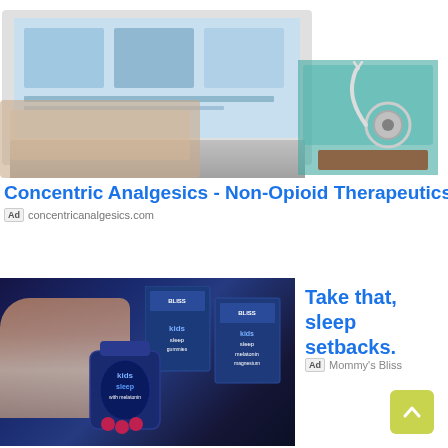[Figure (photo): Overhead photo of a laptop computer with a stethoscope and teal folder on a wooden desk, medical/health setting]
Concentric Analgesics - Non-Opioid Therapeutics
Ad  concentricanalgesics.com
[Figure (photo): Advertisement photo for Mommy's Bliss kids sleep gummies with melatonin and magnesium, showing a child sleeping and product bottles]
Take that, sleep setbacks.
Ad  Mommy's Bliss